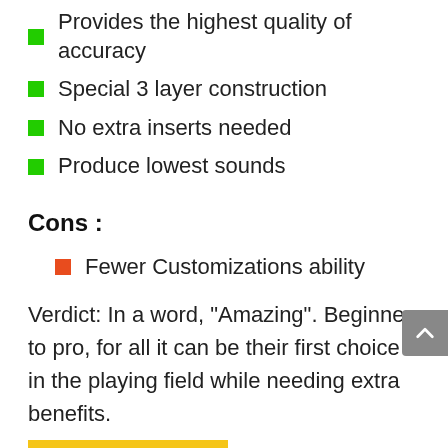Provides the highest quality of accuracy
Special 3 layer construction
No extra inserts needed
Produce lowest sounds
Cons :
Fewer Customizations ability
Verdict: In a word, “Amazing”. Beginner to pro, for all it can be their first choice in the playing field while needing extra benefits.